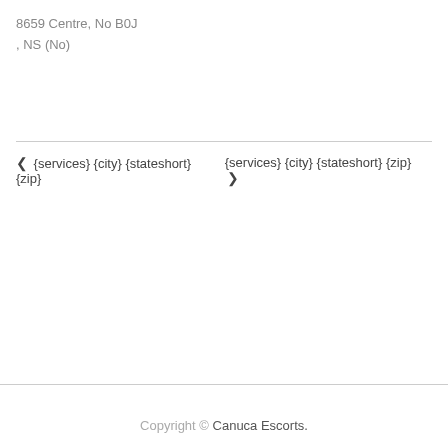8659 Centre, No B0J
, NS (No)
❮ {services} {city} {stateshort} {zip}   {services} {city} {stateshort} {zip} ❯
Copyright © Canuca Escorts.